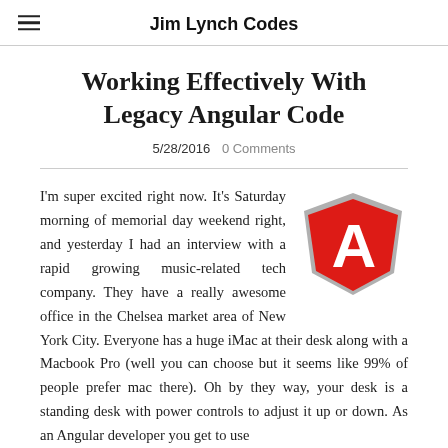Jim Lynch Codes
Working Effectively With Legacy Angular Code
5/28/2016   0 Comments
I'm super excited right now. It's Saturday morning of memorial day weekend right, and yesterday I had an interview with a rapid growing music-related tech company. They have a really awesome office in the Chelsea market area of New York City. Everyone has a huge iMac at their desk along with a Macbook Pro (well you can choose but it seems like 99% of people prefer mac there). Oh by they way, your desk is a standing desk with power controls to adjust it up or down. As an Angular developer you get to use
[Figure (logo): Angular framework red shield logo with white letter A]